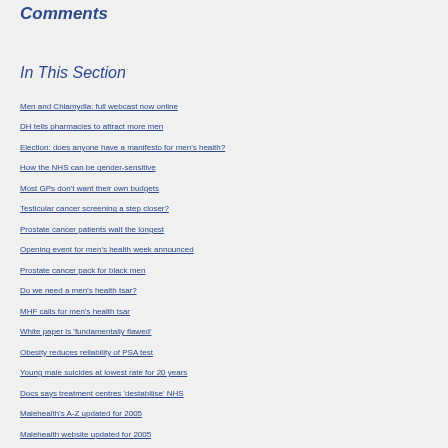Comments
In This Section
Men and Chlamydia: full webcast now online
DH tells pharmacies to attract more men
Election: does anyone have a manifesto for men's health?
How the NHS can be gender-sensitive
Most GPs don't want their own budgets
Testicular cancer screening a step closer?
Prostate cancer patients wait the longest
Opening event for men's health week announced
Prostate cancer pack for black men
Do we need a men's health tsar?
MHF calls for men's health tsar
White paper is 'fundamentally flawed'
Obesity reduces reliability of PSA test
Young male suicides at lowest rate for 20 years
Docs says treatment centres 'destabilise' NHS
Malehealth's A-Z updated for 2005
Malehealth website updated for 2005
Patient's tsar says 'encourage us to be radical'
'Disturbing' failure to address male obesity
2004: the year the MHF came of age
Walk-in centres must attract men